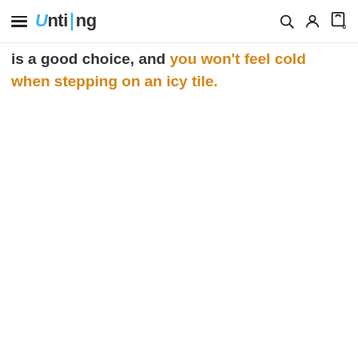Untiing — navigation bar with hamburger menu, logo, search, account, and cart icons
is a good choice, and you won't feel cold when stepping on an icy tile.